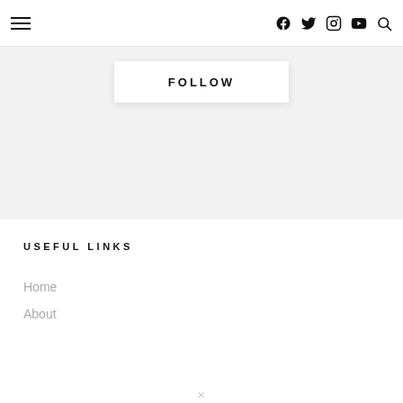≡  [Facebook] [Twitter] [Instagram] [YouTube] [Search]
FOLLOW
USEFUL LINKS
Home
About